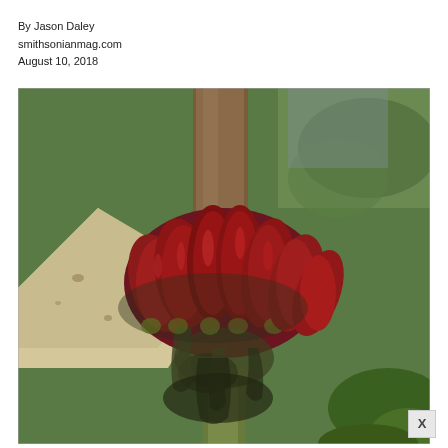By Jason Daley
smithsonianmag.com
August 10, 2018
[Figure (photo): Close-up photograph of a banana flower bud emerging from the stalk, with dark red-purple bulbous segments glistening with sap or moisture, surrounded by green foliage and a pale dried leaf stem in the background.]
X